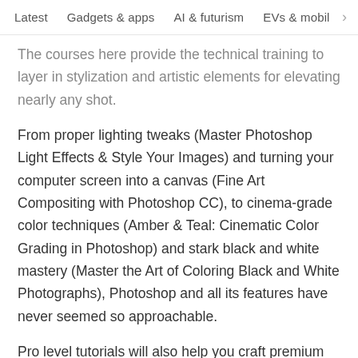Latest   Gadgets & apps   AI & futurism   EVs & mobil  >
The courses here provide the technical training to layer in stylization and artistic elements for elevating nearly any shot.
From proper lighting tweaks (Master Photoshop Light Effects & Style Your Images) and turning your computer screen into a canvas (Fine Art Compositing with Photoshop CC), to cinema-grade color techniques (Amber & Teal: Cinematic Color Grading in Photoshop) and stark black and white mastery (Master the Art of Coloring Black and White Photographs), Photoshop and all its features have never seemed so approachable.
Pro level tutorials will also help you craft premium art flourishes in each picture (Photoshop CC: Digital